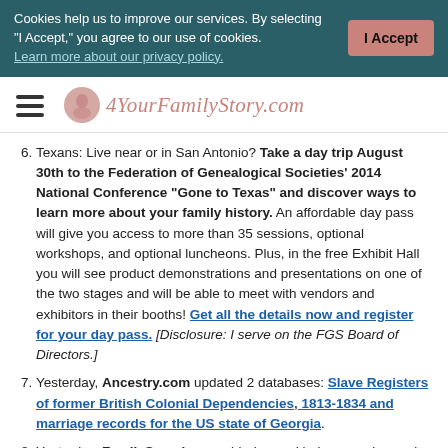Cookies help us to improve our services. By selecting "I Accept," you agree to our use of cookies. Learn more about our privacy policy. | I Accept
[Figure (logo): 4YourFamilyStory.com logo with hamburger menu icon and circular emblem]
6. Texans: Live near or in San Antonio? Take a day trip August 30th to the Federation of Genealogical Societies' 2014 National Conference "Gone to Texas" and discover ways to learn more about your family history. An affordable day pass will give you access to more than 35 sessions, optional workshops, and optional luncheons. Plus, in the free Exhibit Hall you will see product demonstrations and presentations on one of the two stages and will be able to meet with vendors and exhibitors in their booths! Get all the details now and register for your day pass. [Disclosure: I serve on the FGS Board of Directors.]
7. Yesterday, Ancestry.com updated 2 databases: Slave Registers of former British Colonial Dependencies, 1813-1834 and marriage records for the US state of Georgia.
8. Yesterday, FamilySearch.org added record indexes and record